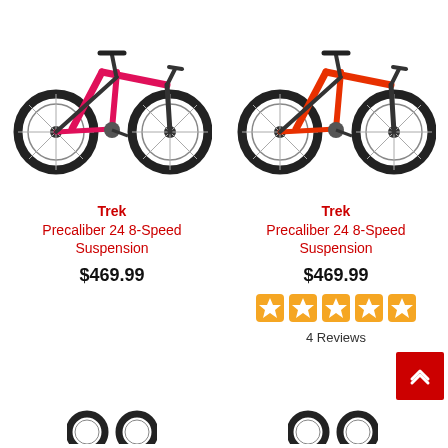[Figure (photo): Red Trek Precaliber 24 8-Speed Suspension mountain bike, left-side view, pink/red frame]
Trek
Precaliber 24 8-Speed Suspension
$469.99
[Figure (photo): Red/orange Trek Precaliber 24 8-Speed Suspension mountain bike, left-side view]
Trek
Precaliber 24 8-Speed Suspension
$469.99
[Figure (other): 4.5 star rating shown as orange star icons]
4 Reviews
[Figure (photo): Partial view of another bike at the bottom left]
[Figure (photo): Partial view of another bike at the bottom right]